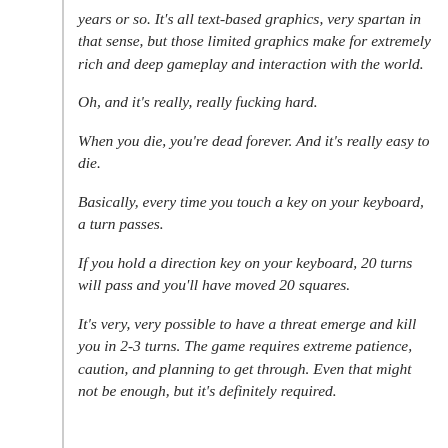years or so. It's all text-based graphics, very spartan in that sense, but those limited graphics make for extremely rich and deep gameplay and interaction with the world.
Oh, and it's really, really fucking hard.
When you die, you're dead forever. And it's really easy to die.
Basically, every time you touch a key on your keyboard, a turn passes.
If you hold a direction key on your keyboard, 20 turns will pass and you'll have moved 20 squares.
It's very, very possible to have a threat emerge and kill you in 2-3 turns. The game requires extreme patience, caution, and planning to get through. Even that might not be enough, but it's definitely required.